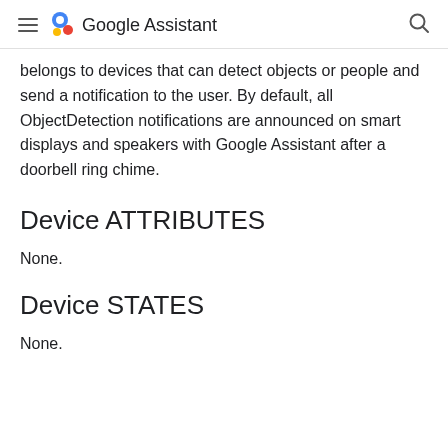Google Assistant
belongs to devices that can detect objects or people and send a notification to the user. By default, all ObjectDetection notifications are announced on smart displays and speakers with Google Assistant after a doorbell ring chime.
Device ATTRIBUTES
None.
Device STATES
None.